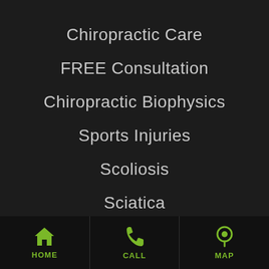Chiropractic Care
FREE Consultation
Chiropractic Biophysics
Sports Injuries
Scoliosis
Sciatica
[Figure (logo): Circular badge/seal partially visible at bottom of main content area]
HOME   CALL   MAP